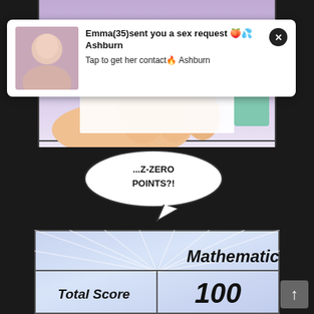[Figure (illustration): Comic panel showing hands holding a paper/document, with light purple background]
[Figure (screenshot): Advertisement overlay: photo of woman on left, text 'Emma(35)sent you a sex request 🍑💦Ashburn Tap to get her contact🔥 Ashburn' with X close button]
[Figure (illustration): Speech bubble with text '...Z-ZERO POINTS?!']
[Figure (illustration): Comic panel showing a score card with 'Mathematics' header and 'Total Score 100' with radial light rays background]